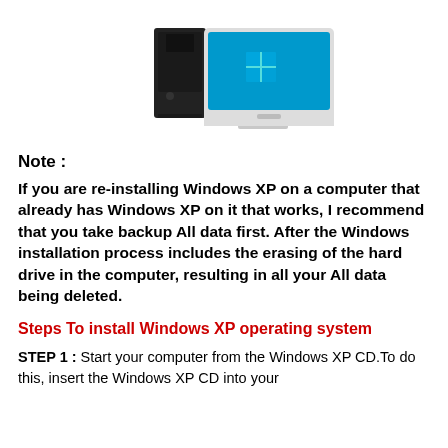[Figure (illustration): Illustration of a desktop computer tower and monitor displaying a Windows logo on a blue screen]
Note :
If you are re-installing Windows XP on a computer that already has Windows XP on it that works, I recommend that you take backup All data first. After the Windows installation process includes the erasing of the hard drive in the computer, resulting in all your All data being deleted.
Steps To install Windows XP operating system
STEP 1 : Start your computer from the Windows XP CD.To do this, insert the Windows XP CD into your